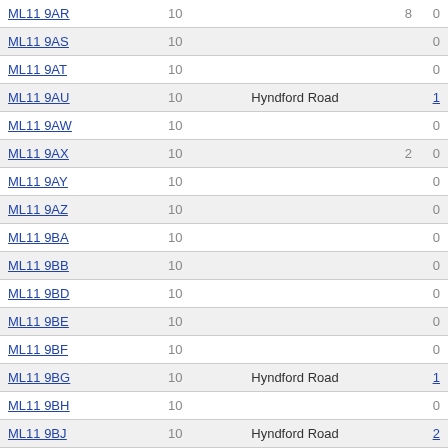| Postcode | Num | Street | Count1 | Count2 |
| --- | --- | --- | --- | --- |
| ML11 9AR | 10 |  | 8 | 0 |
| ML11 9AS | 10 |  |  | 0 |
| ML11 9AT | 10 |  |  | 0 |
| ML11 9AU | 10 | Hyndford Road |  | 1 |
| ML11 9AW | 10 |  |  | 0 |
| ML11 9AX | 10 |  | 2 | 0 |
| ML11 9AY | 10 |  |  | 0 |
| ML11 9AZ | 10 |  |  | 0 |
| ML11 9BA | 10 |  |  | 0 |
| ML11 9BB | 10 |  |  | 0 |
| ML11 9BD | 10 |  |  | 0 |
| ML11 9BE | 10 |  |  | 0 |
| ML11 9BF | 10 |  |  | 0 |
| ML11 9BG | 10 | Hyndford Road |  | 1 |
| ML11 9BH | 10 |  |  | 0 |
| ML11 9BJ | 10 | Hyndford Road |  | 2 |
| ML11 9BL | 10 |  |  | 0 |
| ML11 9BN | 10 |  |  | 0 |